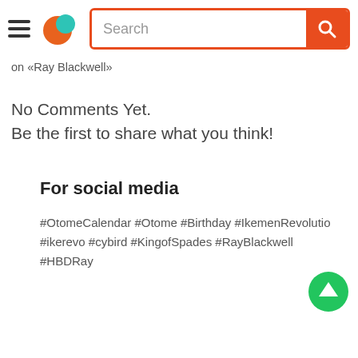Search
on «Ray Blackwell»
No Comments Yet.
Be the first to share what you think!
For social media
#OtomeCalendar #Otome #Birthday #IkemenRevolutio #ikerevo #cybird #KingofSpades #RayBlackwell #HBDRay